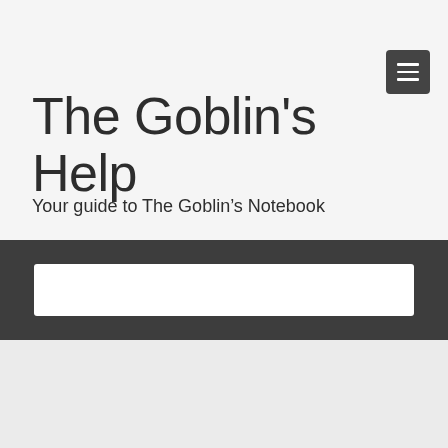The Goblin's Help
Your guide to The Goblin's Notebook
[Figure (screenshot): Search input box on dark background]
The Goblin's Help